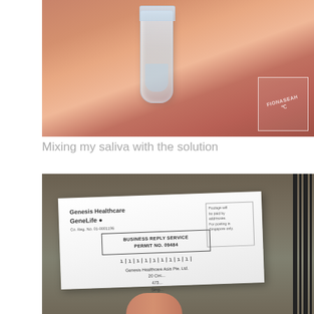[Figure (photo): A close-up photo of a hand holding a small clear plastic vial or tube containing liquid. A watermark logo with 'FIONASEAH' text is visible in the bottom-right corner of the photo.]
Mixing my saliva with the solution
[Figure (photo): A photo of a hand holding a white business reply envelope from Genesis Healthcare GeneLife. The envelope shows 'BUSINESS REPLY SERVICE PERMIT NO. 09484', a barcode, and the addressee 'Genesis Healthcare Asia Pte. Ltd.' with a partial Singapore address. A postage paid box is visible in the top-right of the envelope.]